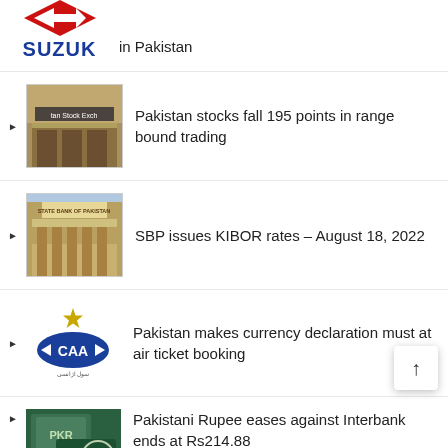[Figure (logo): Partial Suzuki logo (red diamond arrow) with SUZUKI text in blue, and 'in Pakistan' text to the right]
Pakistan stocks fall 195 points in range bound trading
SBP issues KIBOR rates – August 18, 2022
Pakistan makes currency declaration must at air ticket booking
Pakistani Rupee eases against Interbank ends at Rs214.88